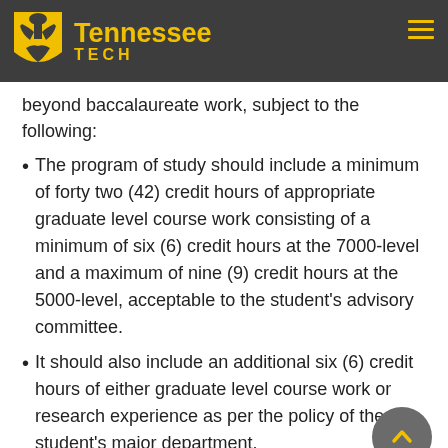Tennessee Tech
beyond baccalaureate work, subject to the following:
The program of study should include a minimum of forty two (42) credit hours of appropriate graduate level course work consisting of a minimum of six (6) credit hours at the 7000-level and a maximum of nine (9) credit hours at the 5000-level, acceptable to the student's advisory committee.
It should also include an additional six (6) credit hours of either graduate level course work or research experience as per the policy of the student's major department.